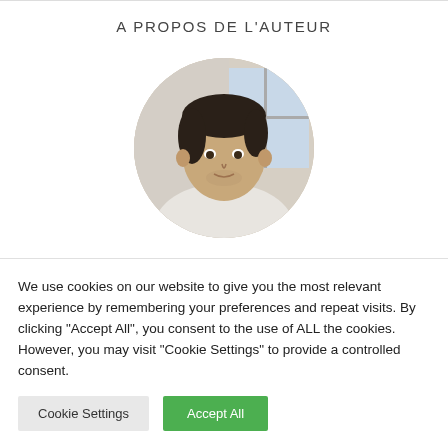A PROPOS DE L'AUTEUR
[Figure (photo): Circular portrait photo of a man with dark hair wearing a light-colored sweater, standing in front of a window.]
We use cookies on our website to give you the most relevant experience by remembering your preferences and repeat visits. By clicking "Accept All", you consent to the use of ALL the cookies. However, you may visit "Cookie Settings" to provide a controlled consent.
Cookie Settings   Accept All